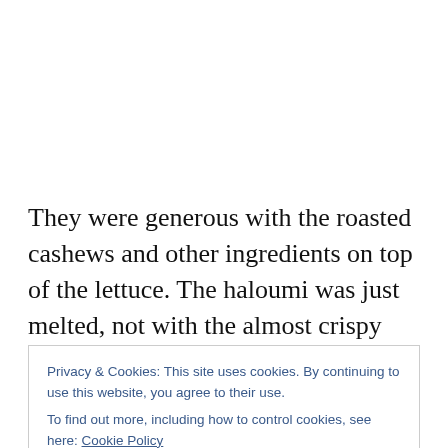They were generous with the roasted cashews and other ingredients on top of the lettuce. The haloumi was just melted, not with the almost crispy exterior as it's
Privacy & Cookies: This site uses cookies. By continuing to use this website, you agree to their use.
To find out more, including how to control cookies, see here: Cookie Policy
Close and accept